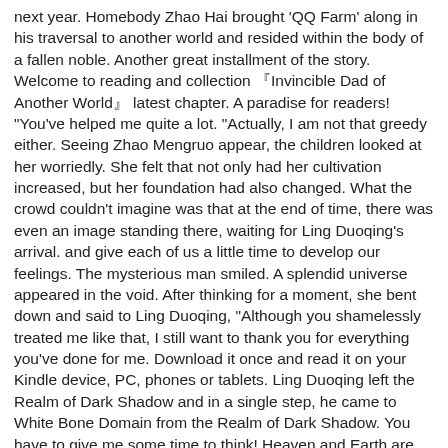next year. Homebody Zhao Hai brought 'QQ Farm' along in his traversal to another world and resided within the body of a fallen noble. Another great installment of the story. Welcome to reading and collection 『Invincible Dad of Another World』 latest chapter. A paradise for readers! "You've helped me quite a lot. "Actually, I am not that greedy either. Seeing Zhao Mengruo appear, the children looked at her worriedly. She felt that not only had her cultivation increased, but her foundation had also changed. What the crowd couldn't imagine was that at the end of time, there was even an image standing there, waiting for Ling Duoqing's arrival. and give each of us a little time to develop our feelings. The mysterious man smiled. A splendid universe appeared in the void. After thinking for a moment, she bent down and said to Ling Duoqing, "Although you shamelessly treated me like that, I still want to thank you for everything you've done for me. Download it once and read it on your Kindle device, PC, phones or tablets. Ling Duoqing left the Realm of Dark Shadow and in a single step, he came to White Bone Domain from the Realm of Dark Shadow. You have to give me some time to think! Heaven and Earth are flourishing, and all living beings are prosperous!". You can take care of it yourself!" After his rebirth, he became the father of a few c... more>> 『Invincible Dad of Another World』The Newest Chapter Chapter 1050 Chapter 1371 6 hours ago . Chapter 1665 6 ... As soon as the shadow disappeared, the world shook violently. Chapter 450 Return to the Dao Palace: When they arrived at Ling Fanghua's yard, Ling Duoqing greeted them as well. He was a very good person and was also very powerful. Ling Duoqing didn't care about Zhao Mengruo's words and continued, "Although you are a bit stupid and might not be able to keep up with us, if you...